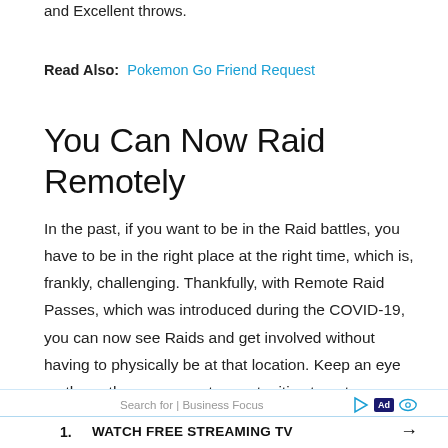and Excellent throws.
Read Also:  Pokemon Go Friend Request
You Can Now Raid Remotely
In the past, if you want to be in the Raid battles, you have to be in the right place at the right time, which is, frankly, challenging. Thankfully, with Remote Raid Passes, which was introduced during the COVID-19, you can now see Raids and get involved without having to physically be at that location. Keep an eye on them, these are great opportunities to get some rarer Pokemon you might need.
Search for | Business Focus  [Ad]  1. WATCH FREE STREAMING TV →